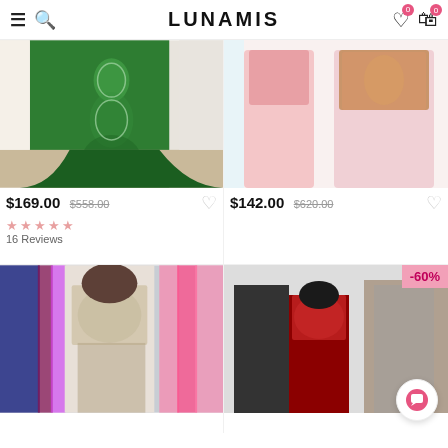LUNAMIS
[Figure (photo): Woman wearing green mermaid-style lace dress]
[Figure (photo): Two women wearing pink two-piece dresses]
$169.00  $558.00
$142.00  $620.00
★★★★★ 16 Reviews
[Figure (photo): Woman wearing crystal beaded two-piece gown in a dress shop]
[Figure (photo): Group at wedding, woman in red lace dress, -60% badge]